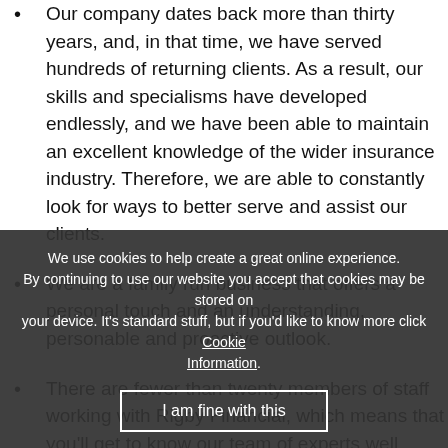Our company dates back more than thirty years, and, in that time, we have served hundreds of returning clients. As a result, our skills and specialisms have developed endlessly, and we have been able to maintain an excellent knowledge of the wider insurance industry. Therefore, we are able to constantly look for ways to better serve and assist our clients.
We are a family run business that offers a personal touch and an understanding, personable and proactive outlook.
There are fewer than twenty members of staff working with Rigby Financial, which means that you'll get to know our team of experts well. There's no possibility of your being passed from pillar to post or speaking to advance account history.
We ensure that we are always there to offer help and to support to our clients, from their first consultation through to the end of the arrangement time.
We use cookies to help create a great online experience. By continuing to use our website you accept that cookies may be stored on your device. It's standard stuff, but if you'd like to know more click Cookie Information.